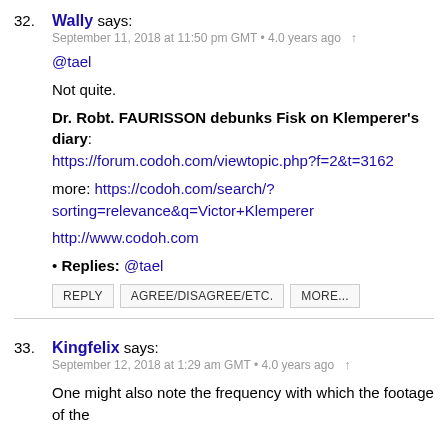32. Wally says:
September 11, 2018 at 11:50 pm GMT • 4.0 years ago ↑
@tael
Not quite.
Dr. Robt. FAURISSON debunks Fisk on Klemperer's diary: https://forum.codoh.com/viewtopic.php?f=2&t=3162
more: https://codoh.com/search/?sorting=relevance&q=Victor+Klemperer
http://www.codoh.com
• Replies: @tael
REPLY   AGREE/DISAGREE/ETC.   MORE...
33. Kingfelix says:
September 12, 2018 at 1:29 am GMT • 4.0 years ago ↑
One might also note the frequency with which the footage of the